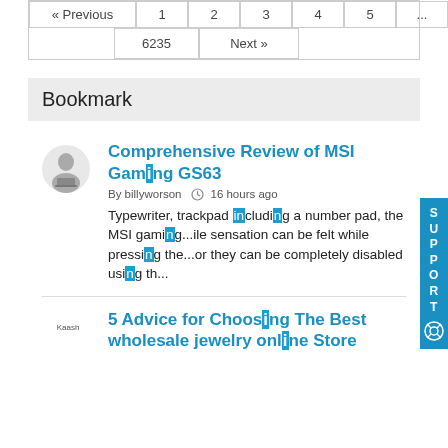| « Previous | 1 | 2 | 3 | 4 | 5 | ... |
| --- | --- | --- | --- | --- | --- | --- |
| 6235 | Next » |
Bookmark
Comprehensive Review of MSI Gaming GS63
By billyworson  16 hours ago
Typewriter, trackpad including a number pad, the MSI gaming...ile sensation can be felt while pressing the...or they can be completely disabled using th...
5 Advice for Choosing The Best wholesale jewelry online Store